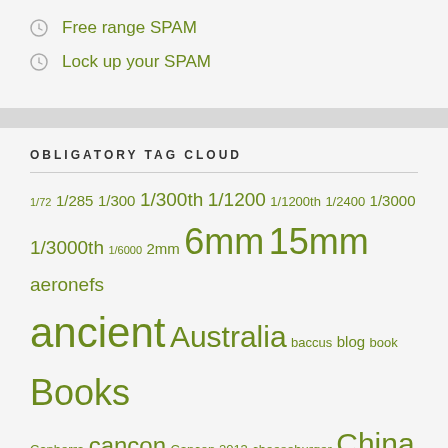Free range SPAM
Lock up your SPAM
OBLIGATORY TAG CLOUD
1/72 1/285 1/300 1/300th 1/1200 1/1200th 1/2400 1/3000 1/3000th 1/6000 2mm 6mm 15mm aeronefs ancient Australia baccus blog book Books Canberra cancon Cancon 2013 cheeseburger China countryside DBA DBMM Food General ghq heroics and ros History hungary Japan Koguryo Korea Land Ironclads life local issues magazine modelling modern Mongolia Muttawah Napoleonic Naval Naval History Naval Wargaming paywar